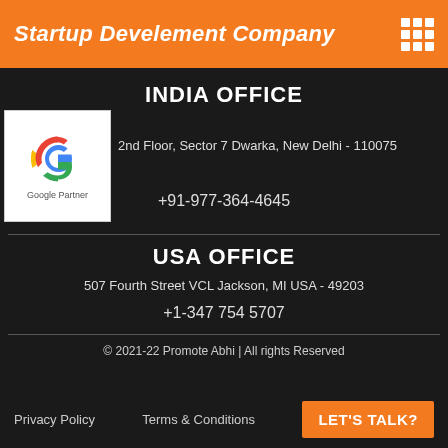Startup Develement Company
INDIA OFFICE
[Figure (logo): Google Partner logo with colorful G icon and 'Google Partner' text]
2nd Floor, Sector 7 Dwarka, New Delhi - 110075
+91-977-364-4645
USA OFFICE
507 Fourth Street VCL Jackson, MI USA - 49203
+1-347 754 5707
© 2021-22 Promote Abhi | All rights Reserved
Privacy Policy   Terms & Conditions   LET'S TALK?